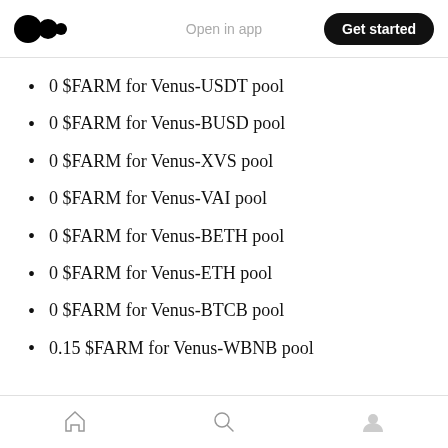Open in app | Get started
0 $FARM for Venus-USDT pool
0 $FARM for Venus-BUSD pool
0 $FARM for Venus-XVS pool
0 $FARM for Venus-VAI pool
0 $FARM for Venus-BETH pool
0 $FARM for Venus-ETH pool
0 $FARM for Venus-BTCB pool
0.15 $FARM for Venus-WBNB pool
Home | Search | Profile